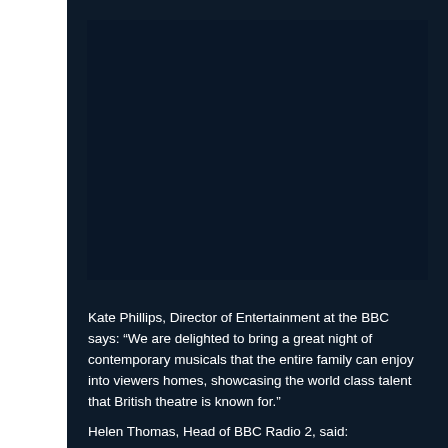[Figure (photo): Dark navy background panel occupying the right portion of the page, with a dark photograph or image in the upper area (not clearly visible).]
Kate Phillips, Director of Entertainment at the BBC says: “We are delighted to bring a great night of contemporary musicals that the entire family can enjoy into viewers homes, showcasing the world class talent that British theatre is known for.”
Helen Thomas, Head of BBC Radio 2, said: